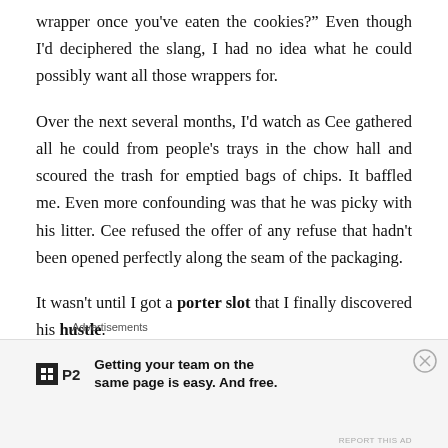wrapper once you've eaten the cookies?' Even though I'd deciphered the slang, I had no idea what he could possibly want all those wrappers for.
Over the next several months, I'd watch as Cee gathered all he could from people's trays in the chow hall and scoured the trash for emptied bags of chips. It baffled me. Even more confounding was that he was picky with his litter. Cee refused the offer of any refuse that hadn't been opened perfectly along the seam of the packaging.
It wasn't until I got a porter slot that I finally discovered his hustle.
Advertisements
[Figure (other): Advertisement for P2: logo (black square with grid icon) and tagline 'Getting your team on the same page is easy. And free.']